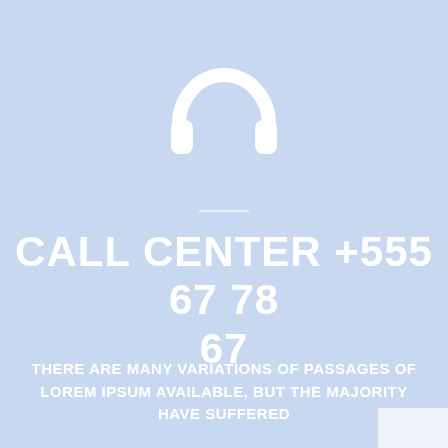[Figure (illustration): White headphones icon centered on light blue background]
CALL CENTER +555 67 78 67
THERE ARE MANY VARIATIONS OF PASSAGES OF LOREM IPSUM AVAILABLE, BUT THE MAJORITY HAVE SUFFERED